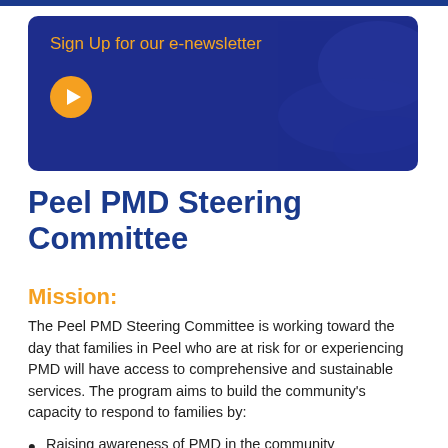[Figure (infographic): Blue rounded banner with orange text 'Sign Up for our e-newsletter' and an orange play button circle, with decorative swirl shapes on the right side.]
Peel PMD Steering Committee
Mission:
The Peel PMD Steering Committee is working toward the day that families in Peel who are at risk for or experiencing PMD will have access to comprehensive and sustainable services. The program aims to build the community's capacity to respond to families by:
Raising awareness of PMD in the community